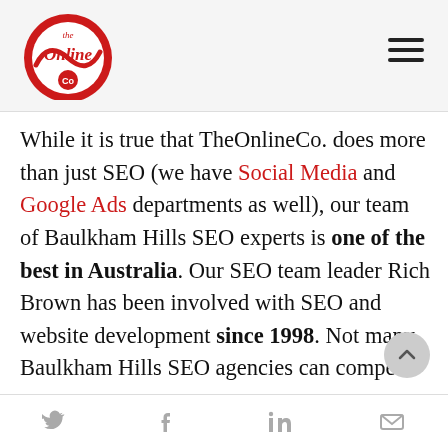The Online Co. logo and navigation
While it is true that TheOnlineCo. does more than just SEO (we have Social Media and Google Ads departments as well), our team of Baulkham Hills SEO experts is one of the best in Australia. Our SEO team leader Rich Brown has been involved with SEO and website development since 1998. Not many Baulkham Hills SEO agencies can compete with that level of experience, knowledge or understanding of SEO. As the chief SEO strategist, Rich ensures that the best SEO plan is
Twitter | Facebook | LinkedIn | Email